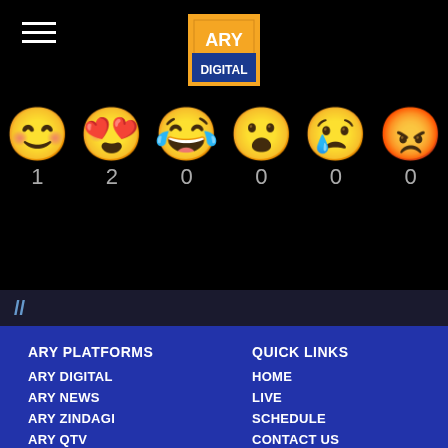[Figure (logo): ARY Digital logo - orange background with ARY in white text and DIGITAL below]
[Figure (infographic): Six emoji reaction faces with counts: smiley face 1, heart eyes 2, laughing 0, shocked 0, crying 0, angry 0]
//
ARY PLATFORMS
ARY DIGITAL
ARY NEWS
ARY ZINDAGI
ARY QTV
ARY MUSIK
QUICK LINKS
HOME
LIVE
SCHEDULE
CONTACT US
PRIVACY POLICY
418 Shares